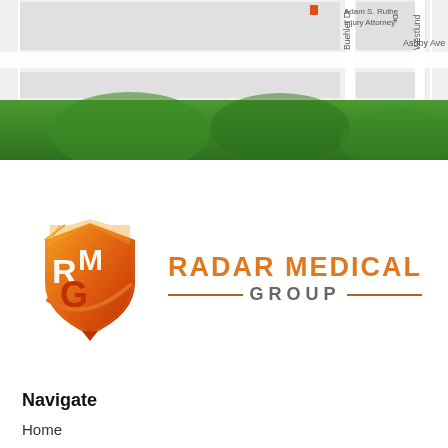[Figure (map): Street map showing Ashby Ave, Buehler Dr, Westlund, and a reference to Adam S. Ruthe Injury Attorney. Map is partially cropped at top. Below the map tiles is a green banner/bar.]
[Figure (logo): Radar Medical Group logo: orange shield with RMG letters on left, text RADAR MEDICAL GROUP in orange and gray on right with decorative horizontal lines.]
Navigate
Home